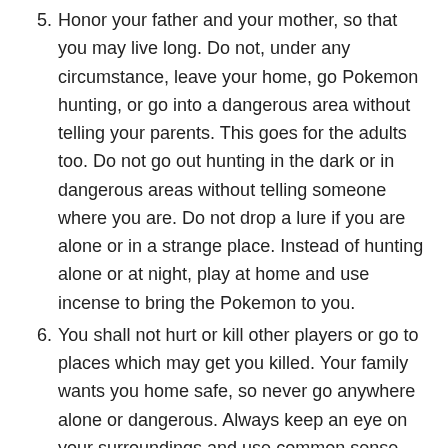5. Honor your father and your mother, so that you may live long. Do not, under any circumstance, leave your home, go Pokemon hunting, or go into a dangerous area without telling your parents. This goes for the adults too. Do not go out hunting in the dark or in dangerous areas without telling someone where you are. Do not drop a lure if you are alone or in a strange place. Instead of hunting alone or at night, play at home and use incense to bring the Pokemon to you.
6. You shall not hurt or kill other players or go to places which may get you killed. Your family wants you home safe, so never go anywhere alone or dangerous. Always keep an eye on your surroundings and use common sense when hunting Pokemon.
7. You shall not cheat on your teammates or your